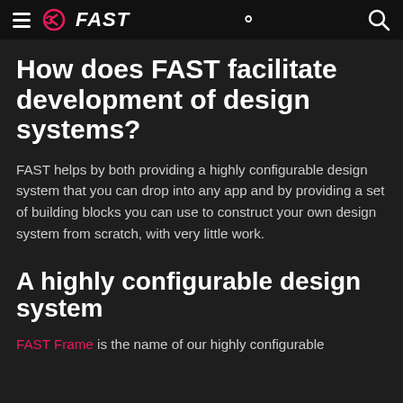FAST
How does FAST facilitate development of design systems?
FAST helps by both providing a highly configurable design system that you can drop into any app and by providing a set of building blocks you can use to construct your own design system from scratch, with very little work.
A highly configurable design system
FAST Frame is the name of our highly configurable